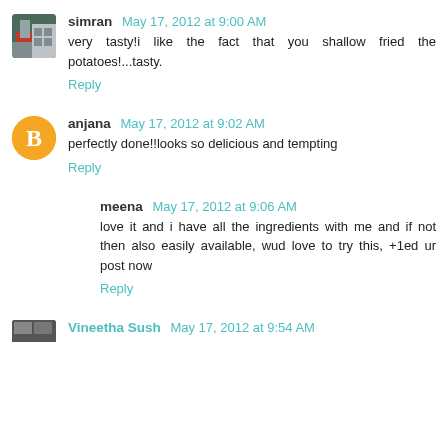simran May 17, 2012 at 9:00 AM
very tasty!i like the fact that you shallow fried the potatoes!...tasty.
Reply
anjana May 17, 2012 at 9:02 AM
perfectly done!!looks so delicious and tempting
Reply
meena May 17, 2012 at 9:06 AM
love it and i have all the ingredients with me and if not then also easily available, wud love to try this, +1ed ur post now
Reply
Vineetha Sush May 17, 2012 at 9:54 AM